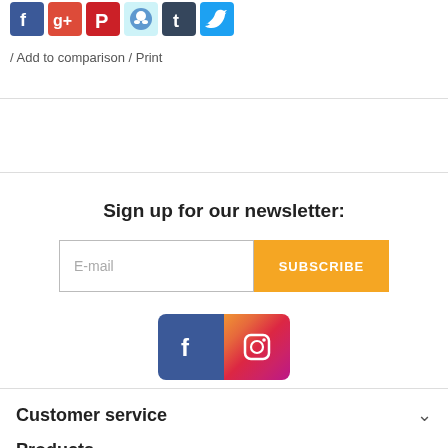[Figure (other): Social media sharing icons: Facebook, Google+, Pinterest, Reddit, Tumblr, Twitter]
/ Add to comparison / Print
Sign up for our newsletter:
[Figure (other): Email input field with placeholder 'E-mail' and orange SUBSCRIBE button]
[Figure (other): Facebook and Instagram social media icons]
Customer service
Products